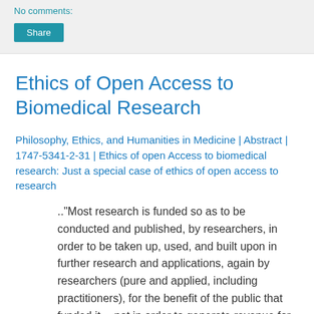No comments:
Share
Ethics of Open Access to Biomedical Research
Philosophy, Ethics, and Humanities in Medicine | Abstract | 1747-5341-2-31 | Ethics of open Access to biomedical research: Just a special case of ethics of open access to research
.."Most research is funded so as to be conducted and published, by researchers, in order to be taken up, used, and built upon in further research and applications, again by researchers (pure and applied, including practitioners), for the benefit of the public that funded it -- not in order to generate revenue for the peer-reviewed journal publishing industry from researchers, or the general public.